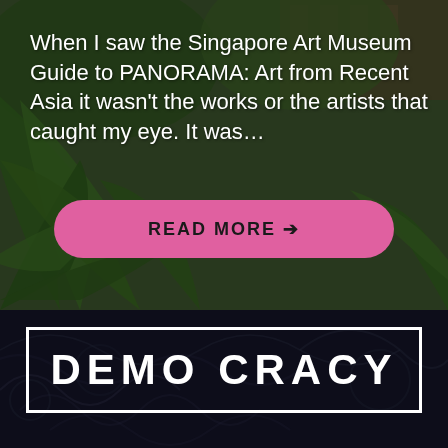[Figure (photo): Tropical garden scene with lush palm fronds and foliage, with a wooden building visible in the upper right background. Dark green overlay tones.]
When I saw the Singapore Art Museum Guide to PANORAMA: Art from Recent Asia it wasn't the works or the artists that caught my eye. It was…
READ MORE →
[Figure (photo): Dark background with light swirling line art/graffiti patterns visible. Night or very dark indoor scene.]
DEMO CRACY